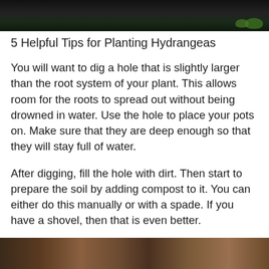[Figure (photo): Dark soil/dirt background with some green plant leaves visible at the top edge, photographed from above]
5 Helpful Tips for Planting Hydrangeas
You will want to dig a hole that is slightly larger than the root system of your plant. This allows room for the roots to spread out without being drowned in water. Use the hole to place your pots on. Make sure that they are deep enough so that they will stay full of water.
After digging, fill the hole with dirt. Then start to prepare the soil by adding compost to it. You can either do this manually or with a spade. If you have a shovel, then that is even better.
[Figure (photo): Close-up photo of soil and plant material at the bottom of the page]